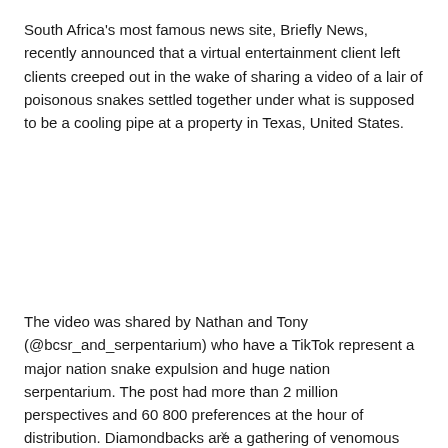South Africa's most famous news site, Briefly News, recently announced that a virtual entertainment client left clients creeped out in the wake of sharing a video of a lair of poisonous snakes settled together under what is supposed to be a cooling pipe at a property in Texas, United States.
The video was shared by Nathan and Tony (@bcsr_and_serpentarium) who have a TikTok represent a major nation snake expulsion and huge nation serpentarium. The post had more than 2 million perspectives and 60 800 preferences at the hour of distribution. Diamondbacks are a gathering of venomous snakes of the genera Crotalus and Sistrurus of the subfamily Crotalinae. They are normal in the US. As per Britannica.com diamondbacks are not forceful and aren't probably going to go after people except if invited. Notwithstanding, they are venomous and can be quite...
x